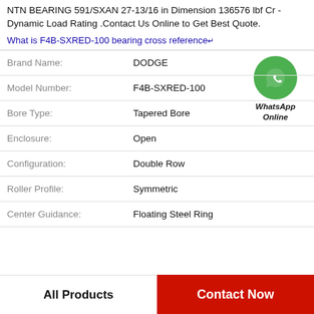NTN BEARING 591/SXAN 27-13/16 in Dimension 136576 lbf Cr - Dynamic Load Rating .Contact Us Online to Get Best Quote.
What is F4B-SXRED-100 bearing cross reference
| Attribute | Value |
| --- | --- |
| Brand Name: | DODGE |
| Model Number: | F4B-SXRED-100 |
| Bore Type: | Tapered Bore |
| Enclosure: | Open |
| Configuration: | Double Row |
| Roller Profile: | Symmetric |
| Center Guidance: | Floating Steel Ring |
[Figure (illustration): WhatsApp Online contact button with green phone icon circle and italic text 'WhatsApp Online']
All Products   Contact Now